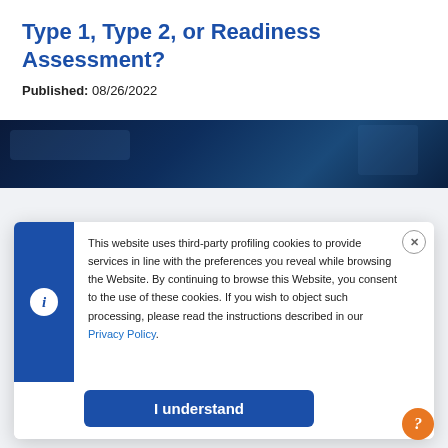Type 1, Type 2, or Readiness Assessment?
Published: 08/26/2022
[Figure (photo): Dark blue tinted photograph of a vehicle interior or car roof, taken at night with blue lighting]
This website uses third-party profiling cookies to provide services in line with the preferences you reveal while browsing the Website. By continuing to browse this Website, you consent to the use of these cookies. If you wish to object such processing, please read the instructions described in our Privacy Policy.
I understand